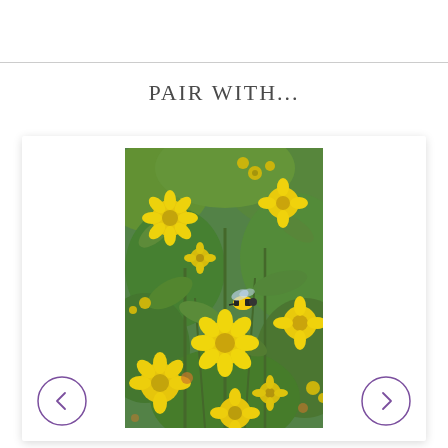PAIR WITH...
[Figure (photo): Close-up photograph of yellow wildflowers with green foliage and a bumblebee in flight among the blooms]
[Figure (other): Navigation arrow buttons (left and right) with purple circle outlines for a carousel]